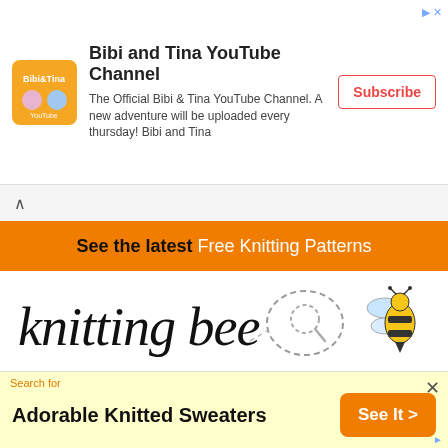[Figure (screenshot): Top ad banner for Bibi and Tina YouTube Channel with logo, description text, and Subscribe button]
See the latest Free Knitting Patterns
[Figure (logo): Knitting Bee website logo with cursive text and bee illustration]
Home » Sweaters & Top Free Knitting Patterns » 25 + Free and Easy Sweater Knitting Patterns for Women
[Figure (screenshot): Bottom ad: Search for Adorable Knitted Sweaters with See It button]